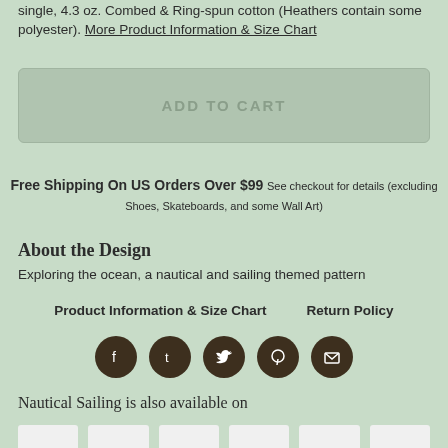single, 4.3 oz. Combed & Ring-spun cotton (Heathers contain some polyester). More Product Information & Size Chart
ADD TO CART
Free Shipping On US Orders Over $99 See checkout for details (excluding Shoes, Skateboards, and some Wall Art)
About the Design
Exploring the ocean, a nautical and sailing themed pattern
Product Information & Size Chart     Return Policy
[Figure (infographic): Row of 5 social media icons: Facebook, Tumblr, Twitter, Pinterest, Email — dark brown circles with white icons]
Nautical Sailing is also available on
[Figure (infographic): Row of 6 white product thumbnail boxes showing available product variants]